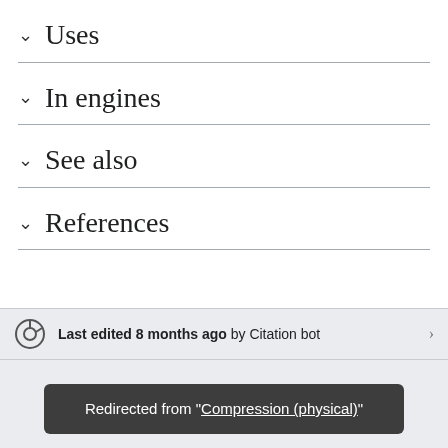Uses
In engines
See also
References
Last edited 8 months ago by Citation bot
Redirected from "Compression (physical)"